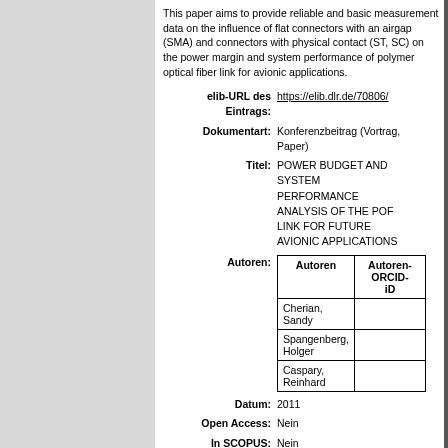This paper aims to provide reliable and basic measurement data on the influence of flat connectors with an airgap (SMA) and connectors with physical contact (ST, SC) on the power margin and system performance of polymer optical fiber link for avionic applications.
elib-URL des Eintrags: https://elib.dlr.de/70806/
Dokumentart: Konferenzbeitrag (Vortrag, Paper)
Titel: POWER BUDGET AND SYSTEM PERFORMANCE ANALYSIS OF THE POF LINK FOR FUTURE AVIONIC APPLICATIONS
| Autoren | Autoren-ORCID-iD |
| --- | --- |
| Cherian, Sandy |  |
| Spangenberg, Holger |  |
| Caspary, Reinhard |  |
Datum: 2011
Open Access: Nein
In SCOPUS: Nein
In ISI Web of Science: Nein